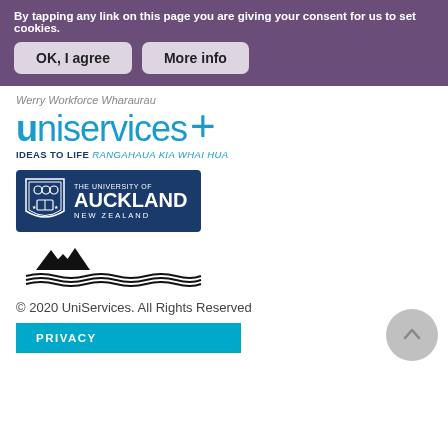By tapping any link on this page you are giving your consent for us to set cookies.
OK, I agree
More info
Werry Workforce Wharaurau
[Figure (logo): UniServices+ logo with tagline: IDEAS TO LIFE RANGAHAUA KIA WHAI HUA]
[Figure (logo): The University of Auckland New Zealand logo with shield emblem on dark blue background]
[Figure (logo): Ministry of Education Te Tahuhu o te Matauranga logo with mountains and wave motifs]
© 2020 UniServices. All Rights Reserved
PRIVACY